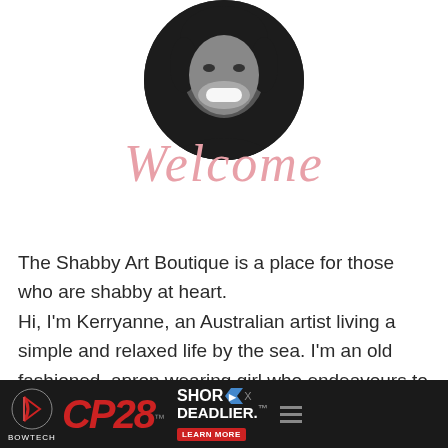[Figure (photo): Circular black and white profile photo of a smiling woman with dark hair]
Welcome
The Shabby Art Boutique is a place for those who are shabby at heart. Hi, I'm Kerryanne, an Australian artist living a simple and relaxed life by the sea. I'm an old fashioned, apron wearing girl who endeavours to put the homemade and home baked back into everyday living. Follow my
[Figure (advertisement): Bowtech CP28 advertisement banner with red CP28 logo, SHOR DEADLIER text, and LEARN MORE button on dark background]